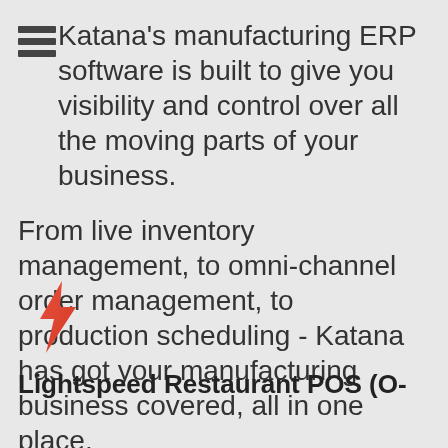Katana's manufacturing ERP software is built to give you visibility and control over all the moving parts of your business.
From live inventory management, to omni-channel order management, to production scheduling - Katana has got your manufacturing business covered, all in one place.
Learn more
[Figure (logo): Lightspeed restaurant logo - orange/red flame shaped icon]
Lightspeed Restaurant POS (O-